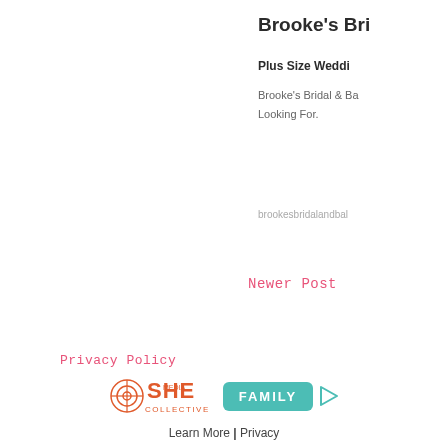Brooke's Bri
Plus Size Weddi
Brooke's Bridal & Ba Looking For.
brookesbridalandbal
Newer Post
Privacy Policy
[Figure (logo): SHE Media Collective logo with teal FAMILY button and play button icon, with Learn More | Privacy text below]